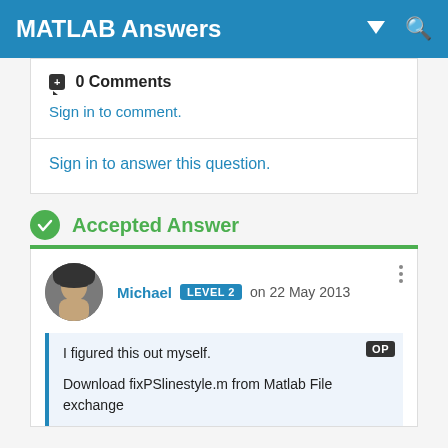MATLAB Answers
0 Comments
Sign in to comment.
Sign in to answer this question.
Accepted Answer
Michael LEVEL 2 on 22 May 2013
I figured this out myself.
Download fixPSlinestyle.m from Matlab File exchange